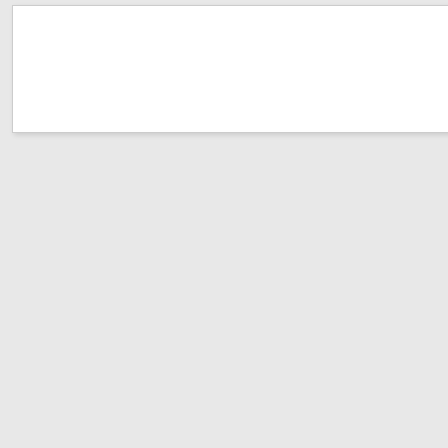[Figure (illustration): White box representing a document/ad template on gray background (left panel, partially cropped)]
Quarter Page Landscape
Qua…
[Figure (illustration): 3 Quarters Page ad template: tall rectangle with dark gray upper portion and light gray lower portion]
3 Quarters Page
Full page: £160
Three Quarter page £120
Half page: £80
Quarter page: £40